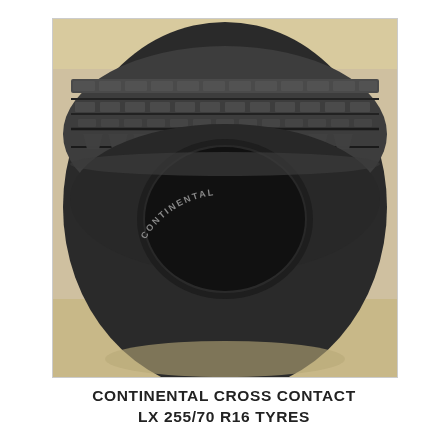[Figure (photo): Close-up photograph of a Continental Cross Contact tire lying flat, showing the tread pattern from above and the sidewall with the Continental brand name embossed. The tire is dark/black with a worn but intact tread pattern featuring V-shaped blocks. The background is a sandy/concrete surface.]
CONTINENTAL CROSS CONTACT LX 255/70 R16 TYRES